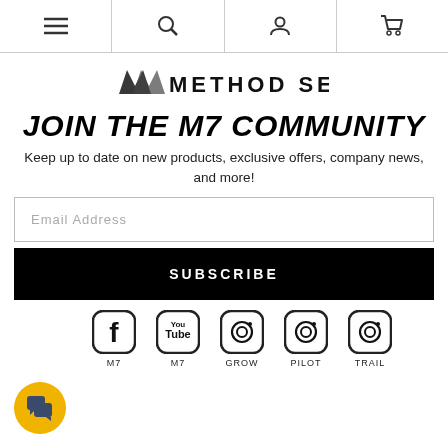Navigation bar with menu, search, account, and cart icons
[Figure (logo): Method Seven logo with stylized M7 icon and text METHOD SEVEN]
JOIN THE M7 COMMUNITY
Keep up to date on new products, exclusive offers, company news, and more!
Email Address (input field)
SUBSCRIBE (button)
[Figure (infographic): Social media icons row: Facebook (M7), YouTube (M7), Instagram (GROW), Instagram (PILOT), Instagram (TRAIL)]